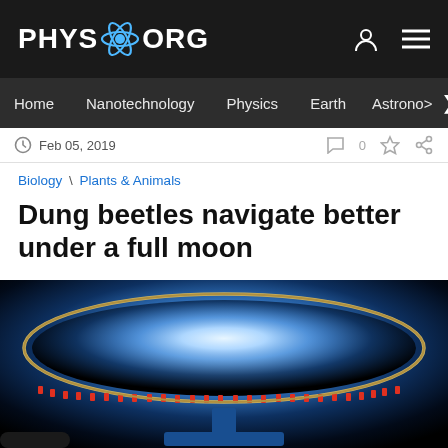PHYS.ORG
Home | Nanotechnology | Physics | Earth | Astronomy >
Feb 05, 2019
Biology \ Plants & Animals
Dung beetles navigate better under a full moon
by Lund University
[Figure (photo): Scientific apparatus showing a circular illuminated dish/arena with LED ring lighting, mounted on a blue support stand, photographed against a dark background. Used in dung beetle navigation experiments.]